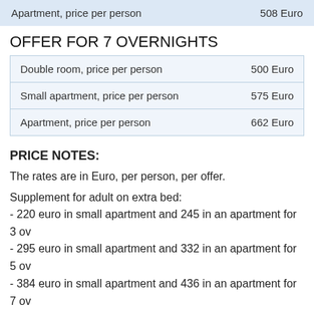|  |  |
| --- | --- |
| Apartment, price per person | 508 Euro |
OFFER FOR 7 OVERNIGHTS
|  |  |
| --- | --- |
| Double room, price per person | 500 Euro |
| Small apartment, price per person | 575 Euro |
| Apartment, price per person | 662 Euro |
PRICE NOTES:
The rates are in Euro, per person, per offer.
Supplement for adult on extra bed:
- 220 euro in small apartment and 245 in an apartment for 3 ov...
- 295 euro in small apartment and 332 in an apartment for 5 ov...
- 384 euro in small apartment and 436 in an apartment for 7 ov...
Supplement for child 2-12 years and in an apartment included in the...